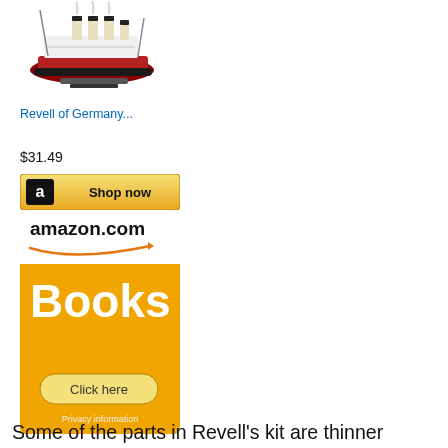[Figure (photo): Model ship (Titanic) product image on white background]
Revell of Germany...
$31.49
[Figure (screenshot): Amazon 'Shop now' button with Amazon icon]
[Figure (screenshot): Amazon.com Books advertisement banner with 'Click here' button and 'Privacy information' text]
Some of the parts in Revell's kit are thinner